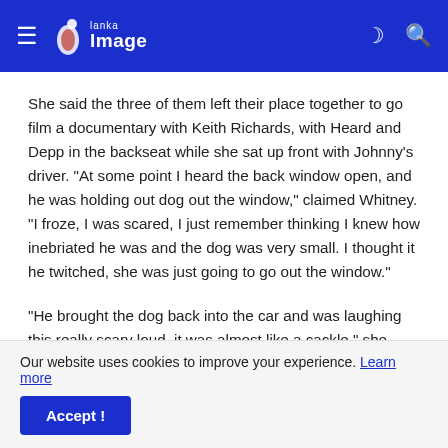Lanka Image
She said the three of them left their place together to go film a documentary with Keith Richards, with Heard and Depp in the backseat while she sat up front with Johnny's driver. “At some point I heard the back window open, and he was holding out dog out the window,” claimed Whitney. “I froze, I was scared, I just remember thinking I knew how inebriated he was and the dog was very small. I thought it he twitched, she was just going to go out the window.”
“He brought the dog back into the car and was laughing this really scary loud, it was almost like a cackle,” she
Our website uses cookies to improve your experience. Learn more
Accept !